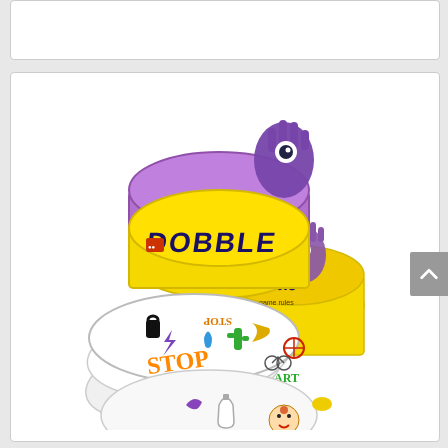[Figure (photo): Dobble Card Game product photo showing the yellow tin with purple lid on top, the yellow game rules container on the right, and several round white game cards fanned out showing various symbols including STOP, cactus, bomb, crescent moon, scissors and more colorful icons.]
Dobble Card Game